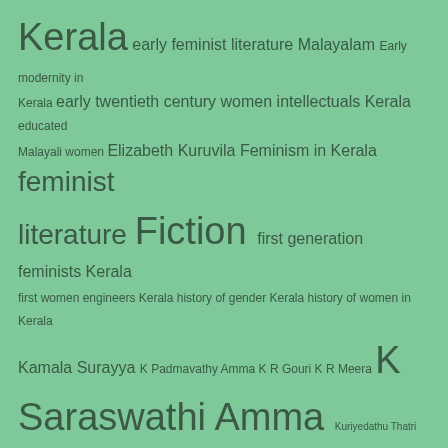[Figure (infographic): Tag cloud on green background with various terms related to Kerala women's history, feminist literature, and related topics in varying font sizes indicating frequency/importance.]